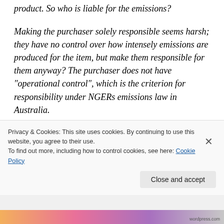product. So who is liable for the emissions?
Making the purchaser solely responsible seems harsh; they have no control over how intensely emissions are produced for the item, but make them responsible for them anyway? The purchaser does not have “operational control”, which is the criterion for responsibility under NGERs emissions law in Australia.
The end user should be liable for the emissions.
Privacy & Cookies: This site uses cookies. By continuing to use this website, you agree to their use.
To find out more, including how to control cookies, see here: Cookie Policy